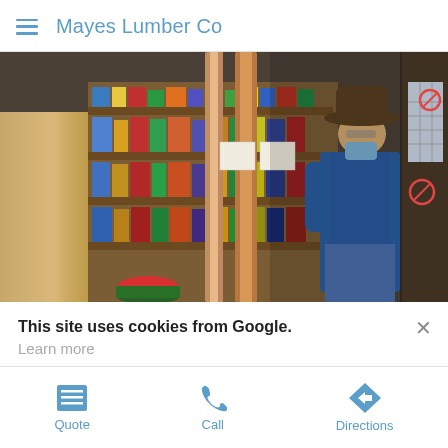Mayes Lumber Co
[Figure (photo): Interior of a lumber and hardware store showing a man wearing a cowboy hat and blue face mask and denim jacket standing near the entrance/door, with shelving units full of hardware supplies and products on the left, and natural wood boards/slabs leaning against the wall in the center.]
This site uses cookies from Google.
Learn more
Quote
Call
Directions